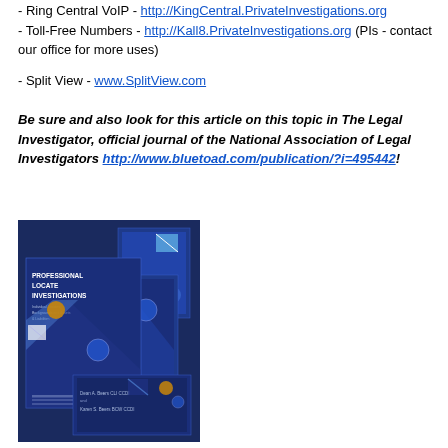- Ring Central VoIP - http://KingCentral.PrivateInvestigations.org
- Toll-Free Numbers - http://Kall8.PrivateInvestigations.org (PIs - contact our office for more uses)
- Split View - www.SplitView.com
Be sure and also look for this article on this topic in The Legal Investigator, official journal of the National Association of Legal Investigators http://www.bluetoad.com/publication/?i=495442!
[Figure (photo): Book cover image showing 'Professional Locate Investigations' book with multiple overlapping cover views on a dark blue background, authored by Dean A. Beers CLI CCDI and Karen S. Beers BCW CCDI]